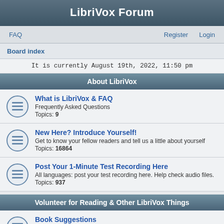LibriVox Forum
FAQ    Register    Login
Board index
It is currently August 19th, 2022, 11:50 pm
About LibriVox
What is LibriVox & FAQ
Frequently Asked Questions
Topics: 9
New Here? Introduce Yourself!
Get to know your fellow readers and tell us a little about yourself
Topics: 16864
Post Your 1-Minute Test Recording Here
All languages: post your test recording here. Help check audio files.
Topics: 937
Volunteer for Reading & Other LibriVox Things
Book Suggestions
Suggest and discuss books to read (all languages welcome!)
Topics: 3040
New Projects Launch Pad
Post ALL new projects here (solos, books, short works/poetry collections,